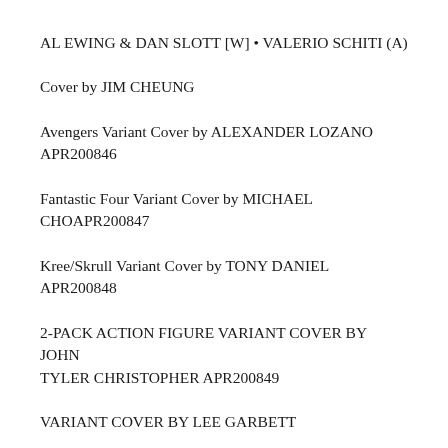AL EWING & DAN SLOTT [W] • VALERIO SCHITI (A)
Cover by JIM CHEUNG
Avengers Variant Cover by ALEXANDER LOZANO APR200846
Fantastic Four Variant Cover by MICHAEL CHOAPR200847
Kree/Skrull Variant Cover by TONY DANIEL APR200848
2-PACK ACTION FIGURE VARIANT COVER BY JOHN TYLER CHRISTOPHER APR200849
VARIANT COVER BY LEE GARBETT